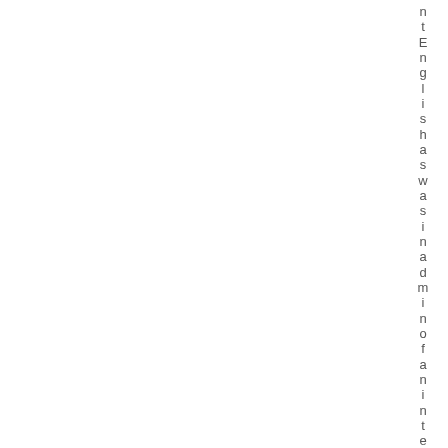ntEnglish as was in admin of an intern